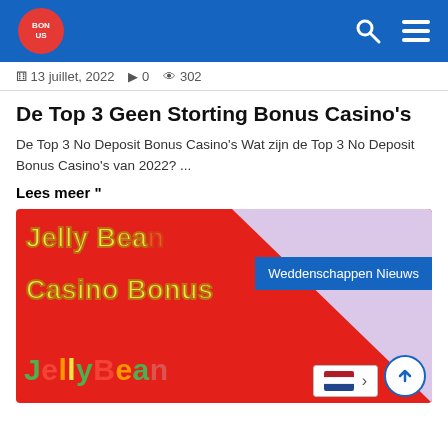Navigation header with logo, search and menu icons
13 juillet, 2022  0  302
De Top 3 Geen Storting Bonus Casino's
De Top 3 No Deposit Bonus Casino's Wat zijn de Top 3 No Deposit Bonus Casino's van 2022? ...
Lees meer "
[Figure (photo): Jelly Bean Casino Bonus promotional image with red background, yellow bold text reading 'Jelly Bean Casino Bonus' and colorful JellyBean logo at bottom. Blue badge reads 'Weddenschappen Nieuws'.]
Weddenschappen Nieuws